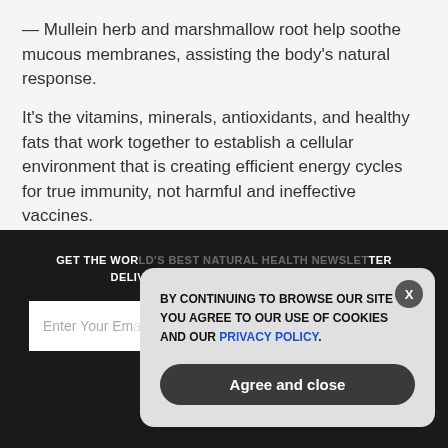— Mullein herb and marshmallow root help soothe mucous membranes, assisting the body's natural response.
It's the vitamins, minerals, antioxidants, and healthy fats that work together to establish a cellular environment that is creating efficient energy cycles for true immunity, not harmful and ineffective vaccines.
Sources:
GET THE WORLD'S BEST NATURAL HEALTH NEWSLETTER DELIVERED STRAIGHT TO YOUR INBOX
[Figure (screenshot): Email subscription input field with placeholder 'Enter Your Email Address' and a pink SUBSCRIBE button]
[Figure (screenshot): Cookie consent popup with text 'BY CONTINUING TO BROWSE OUR SITE YOU AGREE TO OUR USE OF COOKIES AND OUR PRIVACY POLICY.' with an X close button and 'Agree and close' button]